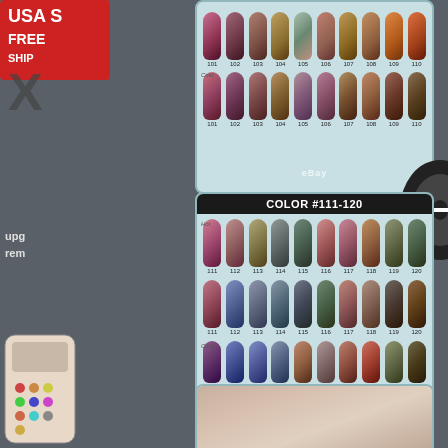[Figure (photo): Color chart showing nail gel polish swatches numbered 101-110, displayed in hot and cold temperature states]
[Figure (photo): Color chart showing nail gel polish swatches numbered 111-120, labeled COLOR #111-120, displayed in hot, normal, and cold temperature states]
[Figure (photo): Partial view of nail polish product/hand at bottom of page]
upg rem
[Figure (photo): USA SELLER FREE SHIPPING badge on left side]
[Figure (photo): Remote control device on right side]